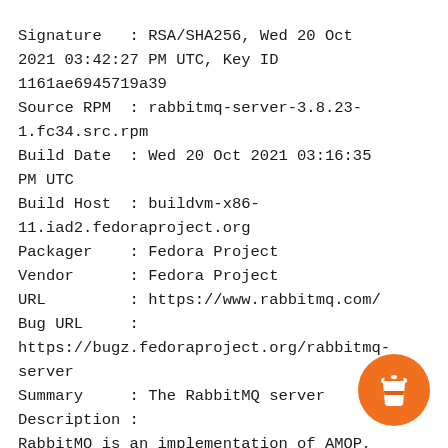Signature   : RSA/SHA256, Wed 20 Oct 2021 03:42:27 PM UTC, Key ID 1161ae6945719a39
Source RPM  : rabbitmq-server-3.8.23-1.fc34.src.rpm
Build Date  : Wed 20 Oct 2021 03:16:35 PM UTC
Build Host  : buildvm-x86-11.iad2.fedoraproject.org
Packager    : Fedora Project
Vendor      : Fedora Project
URL         : https://www.rabbitmq.com/
Bug URL     : https://bugz.fedoraproject.org/rabbitmq-server
Summary     : The RabbitMQ server
Description :
RabbitMQ is an implementation of AMQP,
[Figure (illustration): Orange circular button with a coffee cup icon]